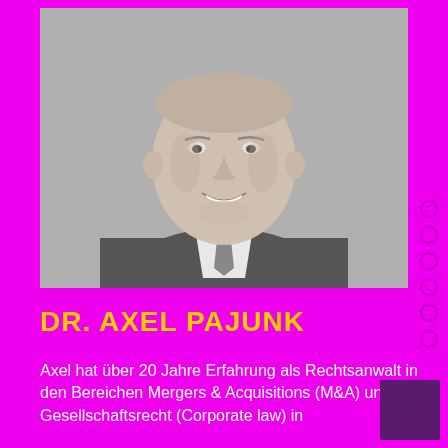[Figure (photo): Black and white professional headshot of Dr. Axel Pajunk, a smiling man in a suit and tie]
DR. AXEL PAJUNK
Axel hat über 20 Jahre Erfahrung als Rechtsanwalt in den Bereichen Mergers & Acquisitions (M&A) und Gesellschaftsrecht (Corporate law) in